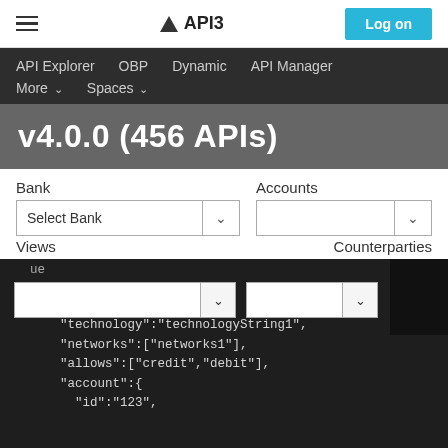API3 — Log on
API Explorer   OBP   Dynamic   API Manager   More   Spaces
v4.0.0 (456 APIs)
Bank   Accounts
Select Bank  [dropdown]  [dropdown]
Views   Counterparties
"on_hot_":true,
"technology":"technologyString1",
"networks":["networks1"],
"allows":["credit","debit"],
"account":{
  "id":"123",